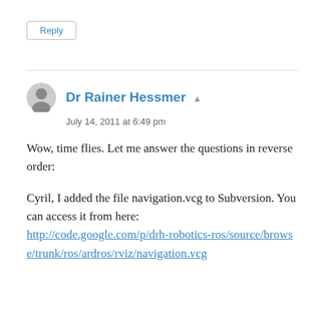Reply
Dr Rainer Hessmer
July 14, 2011 at 6:49 pm
Wow, time flies. Let me answer the questions in reverse order:
Cyril, I added the file navigation.vcg to Subversion. You can access it from here: http://code.google.com/p/drh-robotics-ros/source/browse/trunk/ros/ardros/rviz/navigation.vcg